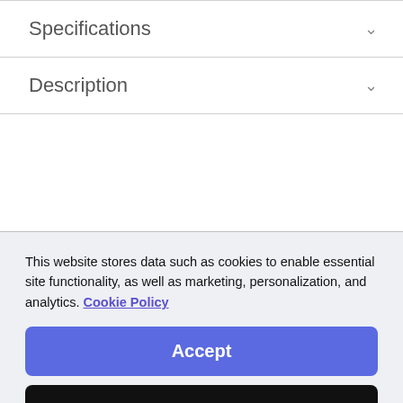Specifications
Description
This website stores data such as cookies to enable essential site functionality, as well as marketing, personalization, and analytics. Cookie Policy
Accept
Deny